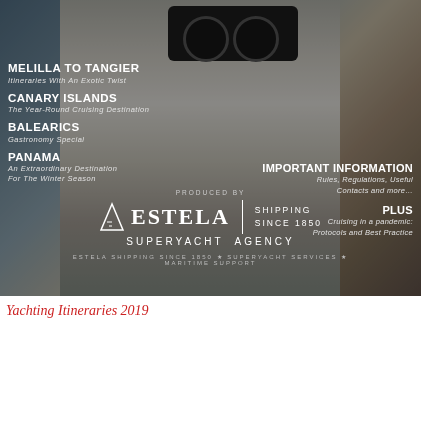[Figure (photo): Magazine cover showing a person holding binoculars, overlaid with text about sailing destinations and Estela Superyacht Agency branding]
Yachting Itineraries 2019
[Figure (photo): Book cover with rocky/wood texture background showing 'The V - Yachting Itineraries 2019/2020, a unique travel guide for owners, captains, guests and crew' with Itineraries text in coral color]